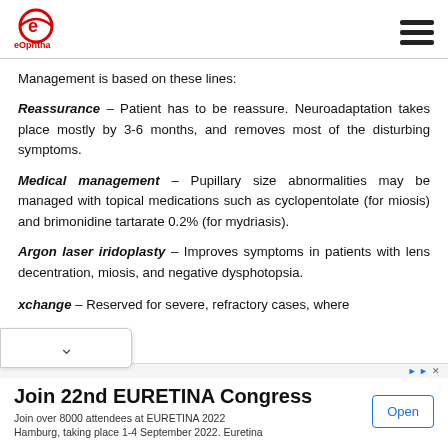eOphtha
Management is based on these lines:
Reassurance – Patient has to be reassure. Neuroadaptation takes place mostly by 3-6 months, and removes most of the disturbing symptoms.
Medical management – Pupillary size abnormalities may be managed with topical medications such as cyclopentolate (for miosis) and brimonidine tartarate 0.2% (for mydriasis).
Argon laser iridoplasty – Improves symptoms in patients with lens decentration, miosis, and negative dysphotopsia.
...xchange – Reserved for severe, refractory cases, where
[Figure (infographic): Advertisement banner for 22nd EURETINA Congress with Open button]
Join 22nd EURETINA Congress
Join over 8000 attendees at EURETINA 2022 Hamburg, taking place 1-4 September 2022. Euretina